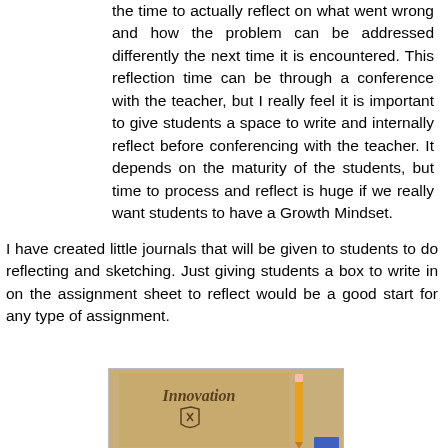the time to actually reflect on what went wrong and how the problem can be addressed differently the next time it is encountered. This reflection time can be through a conference with the teacher, but I really feel it is important to give students a space to write and internally reflect before conferencing with the teacher. It depends on the maturity of the students, but time to process and reflect is huge if we really want students to have a Growth Mindset.
I have created little journals that will be given to students to do reflecting and sketching. Just giving students a box to write in on the assignment sheet to reflect would be a good start for any type of assignment.
[Figure (photo): Photo of a brown kraft paper journal with 'Innovation' written on the cover in an old-style font, with a wrench and shield emblem below it. A yellow pencil with a pink eraser leans against the right side of the journal, and a blue object is partially visible at the bottom right.]